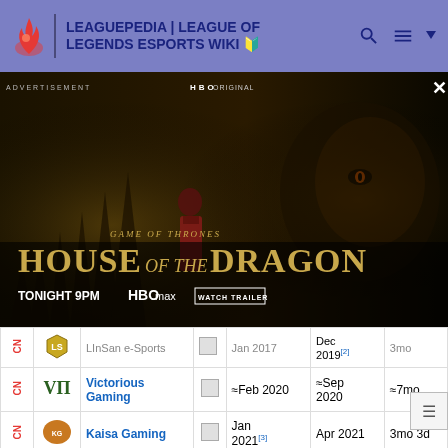LEAGUEPEDIA | LEAGUE OF LEGENDS ESPORTS WIKI
[Figure (screenshot): HBO Original Game of Thrones: House of the Dragon advertisement banner. Text reads: GAME OF THRONES HOUSE OF THE DRAGON TONIGHT 9PM | HBOMAX | WATCH TRAILER]
| Region | Logo | Team | Icon | Join | Leave | Duration |
| --- | --- | --- | --- | --- | --- | --- |
| CN |  | LInSan e-Sports |  | Jan 2017 | Dec 2019[2] | 3mo |
| CN |  | Victorious Gaming |  | ≈Feb 2020 | ≈Sep 2020 | ≈7mo |
| CN |  | Kaisa Gaming |  | Jan 2021[3] | Apr 2021 | 3mo 3d |
News
2018